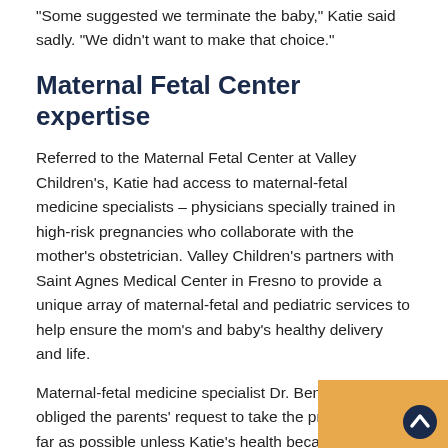'Some suggested we terminate the baby,' Katie said sadly. 'We didn't want to make that choice.'
Maternal Fetal Center expertise
Referred to the Maternal Fetal Center at Valley Children's, Katie had access to maternal-fetal medicine specialists – physicians specially trained in high-risk pregnancies who collaborate with the mother's obstetrician. Valley Children's partners with Saint Agnes Medical Center in Fresno to provide a unique array of maternal-fetal and pediatric services to help ensure the mom's and baby's healthy delivery and life.
Maternal-fetal medicine specialist Dr. Beni Adeniji obliged the parents' request to take the pregnancy as far as possible unless Katie's health became jeopardized. Katie remained hospitalized at Saint Agnes while Dr. Adeniji focused on extending her pregnancy through medications and intense monitoring. He administered steroids to accelerate the baby's lung development, but still it became a race against time,' he said.